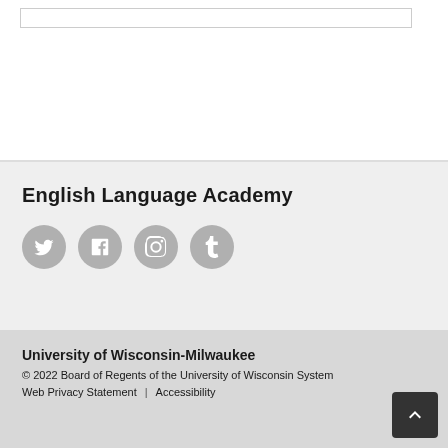English Language Academy
[Figure (illustration): Four social media icons in gray circles: Twitter, Facebook, Instagram, Tumblr]
University of Wisconsin-Milwaukee
© 2022 Board of Regents of the University of Wisconsin System
Web Privacy Statement | Accessibility